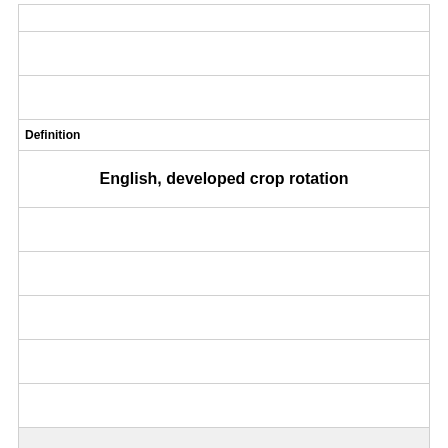|  |  |
|  |  |
|  |  |
| Definition |  |
|  | English, developed crop rotation |
|  |  |
|  |  |
|  |  |
|  |  |
|  |  |
|  | (shaded row) |
| Term |  |
|  | Bakewell |
|  |  |
|  |  |
|  |  |